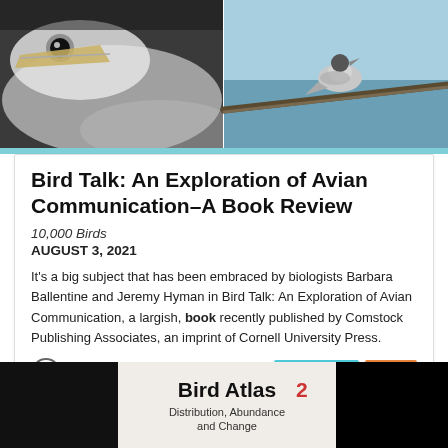[Figure (photo): Two bird photos side by side at the top: left shows a close-up of a pelican or large white bird, right shows a bird perched on a branch against blue sky]
Bird Talk: An Exploration of Avian Communication–A Book Review
10,000 Birds
AUGUST 3, 2021
It's a big subject that has been embraced by biologists Barbara Ballentine and Jeremy Hyman in Bird Talk: An Exploration of Avian Communication, a largish, book recently published by Comstock Publishing Associates, an imprint of Cornell University Press.
[Figure (photo): Bottom portion showing Bird Atlas 2 book cover with text 'Bird Atlas 2', 'Distribution, Abundance and Change' on white background, flanked by black areas on left and right]